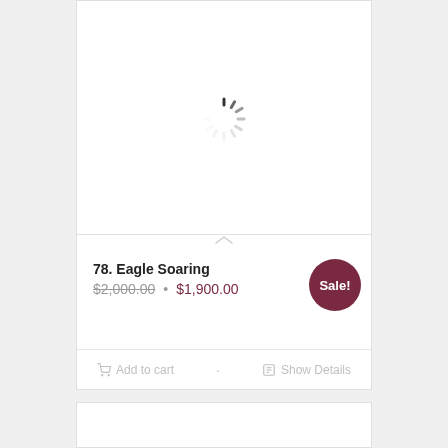[Figure (screenshot): Loading spinner (activity indicator) shown in the image area of a product card]
78. Eagle Soaring
$2,000.00 • $1,900.00
Sale!
Add to cart
Show Details